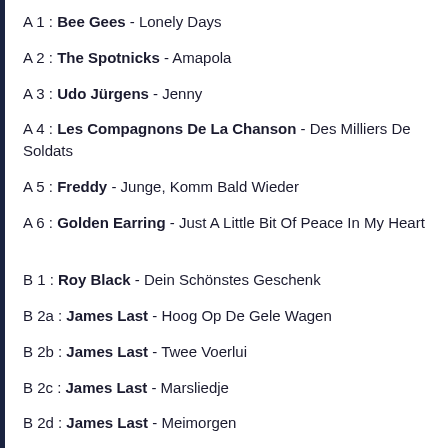A 1 : Bee Gees - Lonely Days
A 2 : The Spotnicks - Amapola
A 3 : Udo Jürgens - Jenny
A 4 : Les Compagnons De La Chanson - Des Milliers De Soldats
A 5 : Freddy - Junge, Komm Bald Wieder
A 6 : Golden Earring - Just A Little Bit Of Peace In My Heart
B 1 : Roy Black - Dein Schönstes Geschenk
B 2a : James Last - Hoog Op De Gele Wagen
B 2b : James Last - Twee Voerlui
B 2c : James Last - Marsliedje
B 2d : James Last - Meimorgen